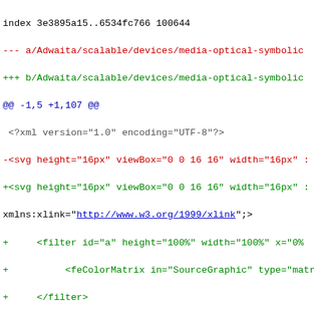index 3e3895a15..6534fc766 100644
--- a/Adwaita/scalable/devices/media-optical-symbolic
+++ b/Adwaita/scalable/devices/media-optical-symbolic
@@ -1,5 +1,107 @@
 <?xml version="1.0" encoding="UTF-8"?>
-<svg height="16px" viewBox="0 0 16 16" width="16px" :
+<svg height="16px" viewBox="0 0 16 16" width="16px" :
xmlns:xlink="http://www.w3.org/1999/xlink";>
+     <filter id="a" height="100%" width="100%" x="0%
+          <feColorMatrix in="SourceGraphic" type="matr
+     </filter>
+     <mask id="b">
+          <g filter="url(#a)">
+               <image height="800" width="1024"
xlink:href="data:image/png;base64,iVBORw0KGgoAAAANSUhh

AAAAAAAAAAAAAAAAAAAAAAAAAAAAAAAAAAAAAAAAAAAAAAAAAAAAAAAA

AAAAAAAAAAAAAAAAAAAAAAAAAAAAAAAAAAAAAAAAAAAAAAAAAAAAAAAA